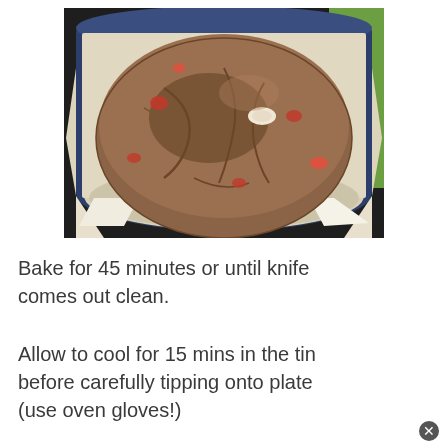[Figure (photo): A baked cake in a round cake tin lined with parchment paper, showing a brown textured top with visible fruit pieces (likely strawberries). The tin sits on a dark surface with a green item visible in the background.]
Bake for 45 minutes or until knife comes out clean.
Allow to cool for 15 mins in the tin before carefully tipping onto plate (use oven gloves!)